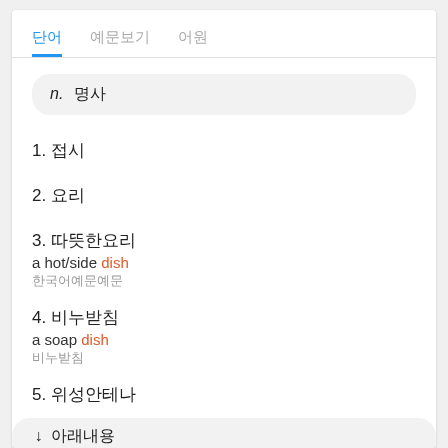탭 네비게이션: 단어, 예문보기, 어원
n. 명사
1. 접시
2. 요리
3. 따뜻한요리
a hot/side dish
한국어예문
4. 비누받침
a soap dish
비누받침
5. 위성안테나
6. 매력적인사람; 아름다운사람